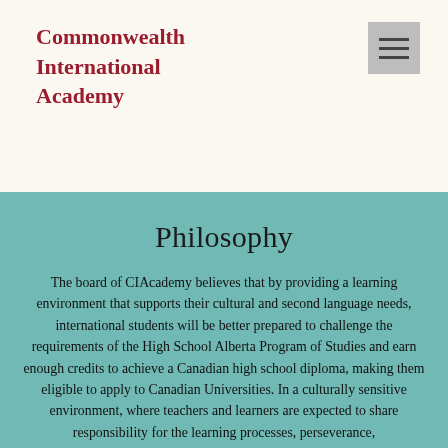Commonwealth International Academy
Philosophy
The board of CIAcademy believes that by providing a learning environment that supports their cultural and second language needs, international students will be better prepared to challenge the requirements of the High School Alberta Program of Studies and earn enough credits to achieve a Canadian high school diploma, making them eligible to apply to Canadian Universities. In a culturally sensitive environment, where teachers and learners are expected to share responsibility for the learning processes, perseverance,